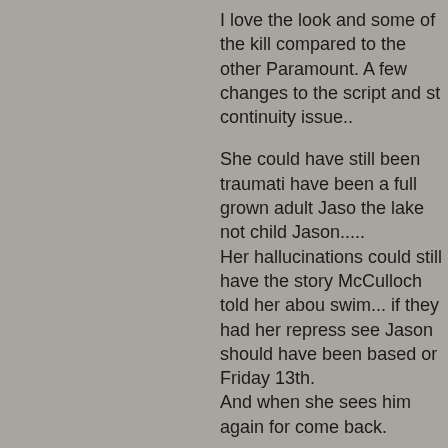I love the look and some of the kill compared to the other Paramount. A few changes to the script and st continuity issue..
She could have still been traumati have been a full grown adult Jaso the lake not child Jason..... Her hallucinations could still have the story McCulloch told her abou swim... if they had her repress see Jason should have been based or Friday 13th. And when she sees him again for come back.
The other thing they should have to go with the toxic waste ending i she throws in his face should not h